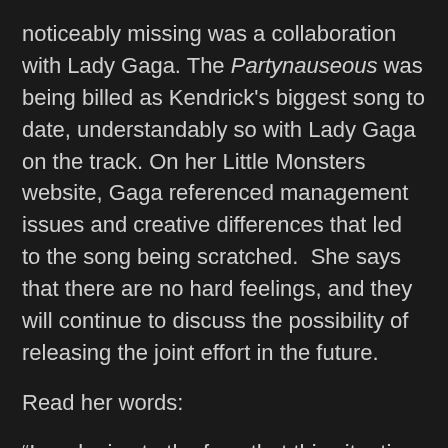noticeably missing was a collaboration with Lady Gaga. The Partynauseous was being billed as Kendrick's biggest song to date, understandably so with Lady Gaga on the track. On her Little Monsters website, Gaga referenced management issues and creative differences that led to the song being scratched.  She says that there are no hard feelings, and they will continue to discuss the possibility of releasing the joint effort in the future.
Read her words:
“I apologize to the fans that this situation with Partynauseous is confusing. To it clear it up I must explain this. When I collaborate with an artist I